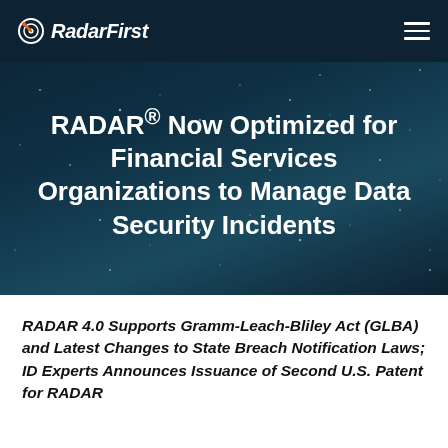RadarFirst
RADAR® Now Optimized for Financial Services Organizations to Manage Data Security Incidents
RADAR 4.0 Supports Gramm-Leach-Bliley Act (GLBA) and Latest Changes to State Breach Notification Laws; ID Experts Announces Issuance of Second U.S. Patent for RADAR